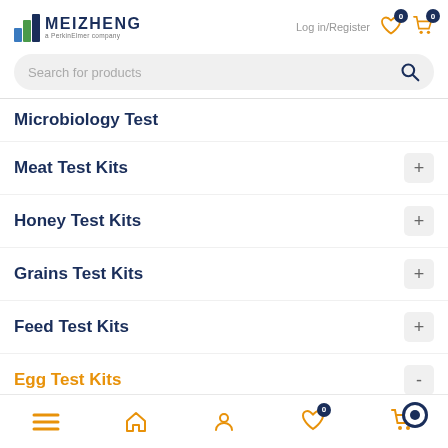Log in/Register
[Figure (logo): Meizheng logo with green/blue striped icon and text 'MEIZHENG a PerkinElmer company']
Search for products
Microbiology Test
Meat Test Kits
Honey Test Kits
Grains Test Kits
Feed Test Kits
Egg Test Kits
Pre-treatment
Pathogen Test...
Bottom navigation bar with menu, home, user, wishlist, cart icons